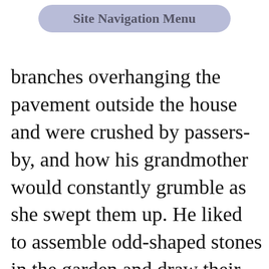Site Navigation Menu
branches overhanging the pavement outside the house and were crushed by passers-by, and how his grandmother would constantly grumble as she swept them up. He liked to assemble odd-shaped stones in the garden and draw their sharp edges or polished